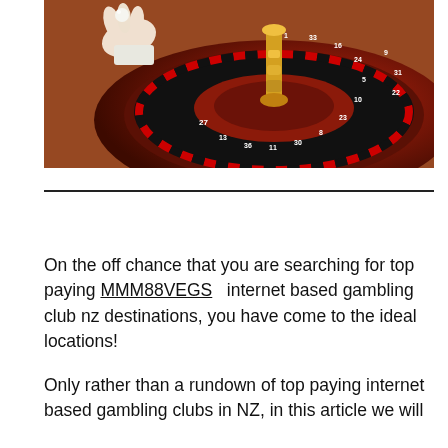[Figure (photo): Close-up photograph of a casino roulette wheel with a hand holding a ball above it. The wheel shows red and black numbered slots. A gold center column is visible. The image has warm reddish-brown tones.]
On the off chance that you are searching for top paying MMM88VEGS  internet based gambling club nz destinations, you have come to the ideal locations!
Only rather than a rundown of top paying internet based gambling clubs in NZ, in this article we will